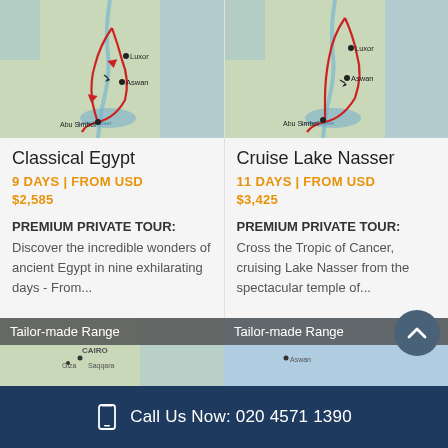[Figure (map): Map of Egypt showing route through Luxor, Aswan, Abu Simbel and Lake Nasser with red route line]
Classical Egypt
9 DAYS | FROM USD $2,585
PREMIUM PRIVATE TOUR: Discover the incredible wonders of ancient Egypt in nine exhilarating days - From...
[Figure (map): Map of Egypt showing route through Luxor, Aswan, Abu Simbel and Lake Nasser with red route line]
Cruise Lake Nasser
11 DAYS | FROM USD $3,425
PREMIUM PRIVATE TOUR: Cross the Tropic of Cancer, cruising Lake Nasser from the spectacular temple of...
[Figure (map): Partial map showing Cairo and Giza area - Tailor-made Range]
Tailor-made Range
[Figure (map): Partial map - Tailor-made Range second card]
Tailor-made Range
Call Us Now: 020 4571 1390